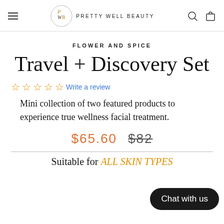PRETTY WELL BEAUTY
FLOWER AND SPICE
Travel + Discovery Set
☆☆☆☆☆ Write a review
Mini collection of two featured products to experience true wellness facial treatment.
$65.60  $82
Suitable for ALL SKIN TYPES
Chat with us